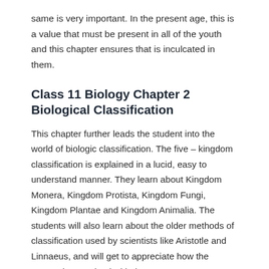same is very important. In the present age, this is a value that must be present in all of the youth and this chapter ensures that is inculcated in them.
Class 11 Biology Chapter 2 Biological Classification
This chapter further leads the student into the world of biologic classification. The five – kingdom classification is explained in a lucid, easy to understand manner. They learn about Kingdom Monera, Kingdom Protista, Kingdom Fungi, Kingdom Plantae and Kingdom Animalia. The students will also learn about the older methods of classification used by scientists like Aristotle and Linnaeus, and will get to appreciate how the system has evolved with time.
Class 11 Biology Chapter 3 Plant Kingdom